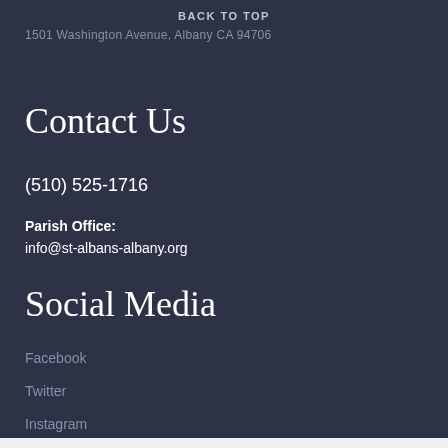BACK TO TOP
1501 Washington Avenue, Albany CA 94706
Contact Us
(510) 525-1716
Parish Office:
info@st-albans-albany.org
Social Media
Facebook
Twitter
Instagram